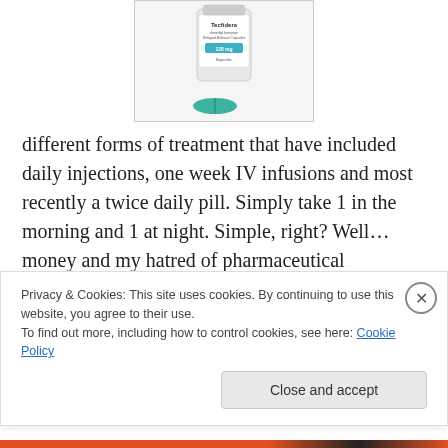[Figure (photo): Tecfidera medication bottle with teal/green capsule pill in front, product packaging photo]
different forms of treatment that have included daily injections, one week IV infusions and most recently a twice daily pill. Simply take 1 in the morning and 1 at night. Simple, right? Well… money and my hatred of pharmaceutical companies and insurance companies have combined to even complicate taking medication daily. The medicine I am talking about is Tecfidera. The
Privacy & Cookies: This site uses cookies. By continuing to use this website, you agree to their use. To find out more, including how to control cookies, see here: Cookie Policy